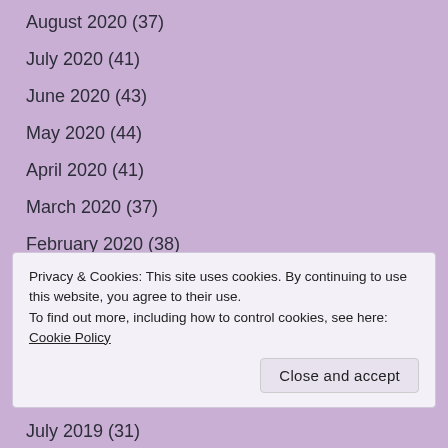August 2020 (37)
July 2020 (41)
June 2020 (43)
May 2020 (44)
April 2020 (41)
March 2020 (37)
February 2020 (38)
January 2020 (35)
December 2019 (35)
November 2019 (41)
Privacy & Cookies: This site uses cookies. By continuing to use this website, you agree to their use.
To find out more, including how to control cookies, see here: Cookie Policy
July 2019 (31)